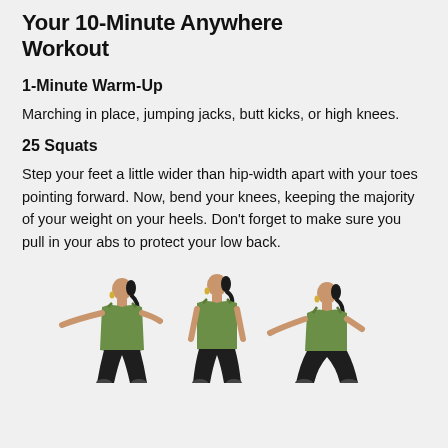Your 10-Minute Anywhere Workout
1-Minute Warm-Up
Marching in place, jumping jacks, butt kicks, or high knees.
25 Squats
Step your feet a little wider than hip-width apart with your toes pointing forward. Now, bend your knees, keeping the majority of your weight on your heels. Don’t forget to make sure you pull in your abs to protect your low back.
[Figure (photo): Three sequential images of a woman in a green tank top and black pants performing squats, shown from a side/front angle, arms extended forward.]